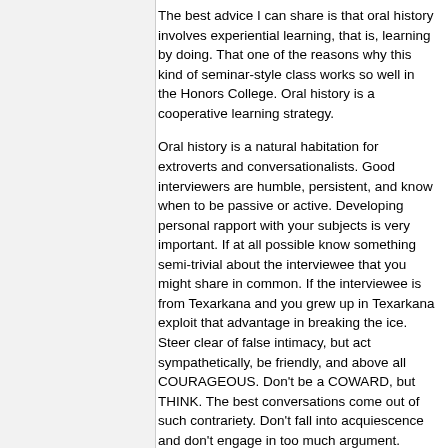The best advice I can share is that oral history involves experiential learning, that is, learning by doing. That one of the reasons why this kind of seminar-style class works so well in the Honors College. Oral history is a cooperative learning strategy.
Oral history is a natural habitation for extroverts and conversationalists. Good interviewers are humble, persistent, and know when to be passive or active. Developing personal rapport with your subjects is very important. If at all possible know something semi-trivial about the interviewee that you might share in common. If the interviewee is from Texarkana and you grew up in Texarkana exploit that advantage in breaking the ice. Steer clear of false intimacy, but act sympathetically, be friendly, and above all COURAGEOUS. Don't be a COWARD, but THINK. The best conversations come out of such contrariety. Don't fall into acquiescence and don't engage in too much argument.
You may be surprised at how willing people will